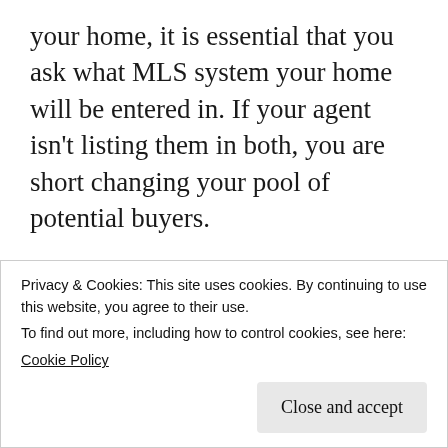your home, it is essential that you ask what MLS system your home will be entered in. If your agent isn't listing them in both, you are short changing your pool of potential buyers.
If you'd like to search homes in both the Athens GA classic MLS and the GAMLS, our system covers both. Search HERE.
Let us know if you'd like to be set up on instant Athens MLS home search alerts
Privacy & Cookies: This site uses cookies. By continuing to use this website, you agree to their use.
To find out more, including how to control cookies, see here:
Cookie Policy